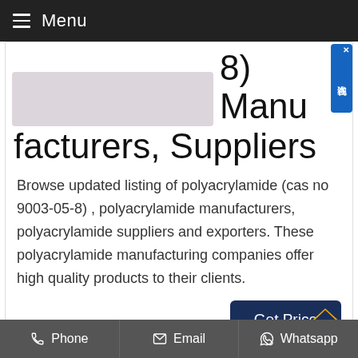Menu
8) Manufacturers, Suppliers
Browse updated listing of polyacrylamide (cas no 9003-05-8) , polyacrylamide manufacturers, polyacrylamide suppliers and exporters. These polyacrylamide manufacturing companies offer high quality products to their clients.
Phone  Email  Whatsapp